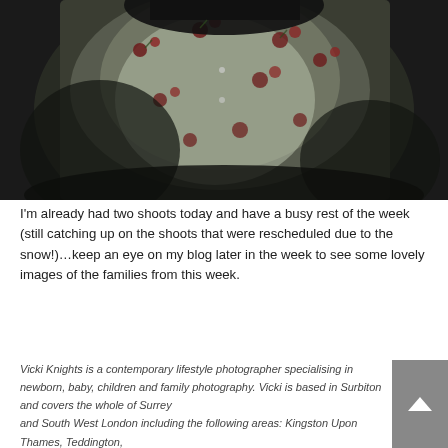[Figure (photo): Close-up dark photograph of a person wearing a white dress or top with a cherry/floral pattern (red cherries and dark leaves on white fabric). The image is dark with moody lighting.]
I'm already had two shoots today and have a busy rest of the week (still catching up on the shoots that were rescheduled due to the snow!)…keep an eye on my blog later in the week to see some lovely images of the families from this week.
Vicki Knights is a contemporary lifestyle photographer specialising in newborn, baby, children and family photography. Vicki is based in Surbiton and covers the whole of Surrey and South West London including the following areas: Kingston Upon Thames, Teddington,